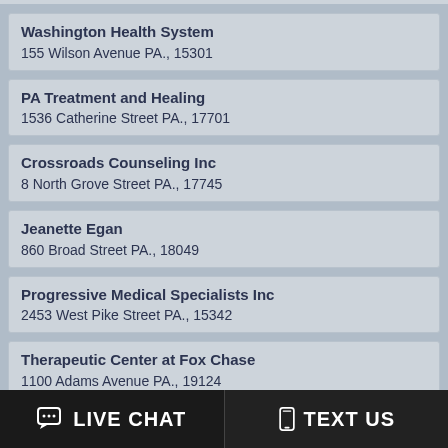Washington Health System
155 Wilson Avenue PA., 15301
PA Treatment and Healing
1536 Catherine Street PA., 17701
Crossroads Counseling Inc
8 North Grove Street PA., 17745
Jeanette Egan
860 Broad Street PA., 18049
Progressive Medical Specialists Inc
2453 West Pike Street PA., 15342
Therapeutic Center at Fox Chase
1100 Adams Avenue PA., 19124
1 2 3 4 5 6 7 8 9 10 11 12 13 14 15 16 17 18 19 20
Copyright © 2000 - 2022 www.drug-overdose.com
LIVE CHAT
TEXT US